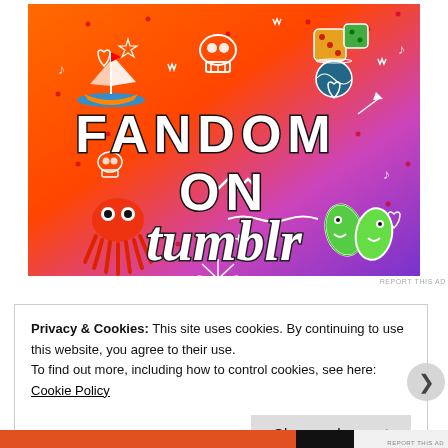[Figure (illustration): Tumblr advertisement banner with orange-to-purple gradient background, white doodle icons (sailboat, skull, dice, octopus, leaf characters, stars, hearts, arrows, music notes), and bold text reading 'FANDOM ON tumblr']
REPORT THIS AD
Privacy & Cookies: This site uses cookies. By continuing to use this website, you agree to their use.
To find out more, including how to control cookies, see here: Cookie Policy
Close and accept